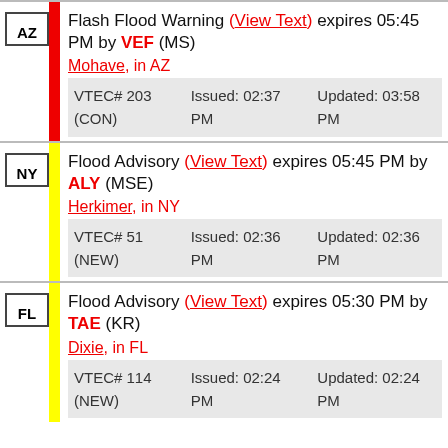AZ | Flash Flood Warning (View Text) expires 05:45 PM by VEF (MS) | Mohave, in AZ | VTEC# 203 (CON) | Issued: 02:37 PM | Updated: 03:58 PM
NY | Flood Advisory (View Text) expires 05:45 PM by ALY (MSE) | Herkimer, in NY | VTEC# 51 (NEW) | Issued: 02:36 PM | Updated: 02:36 PM
FL | Flood Advisory (View Text) expires 05:30 PM by TAE (KR) | Dixie, in FL | VTEC# 114 (NEW) | Issued: 02:24 PM | Updated: 02:24 PM